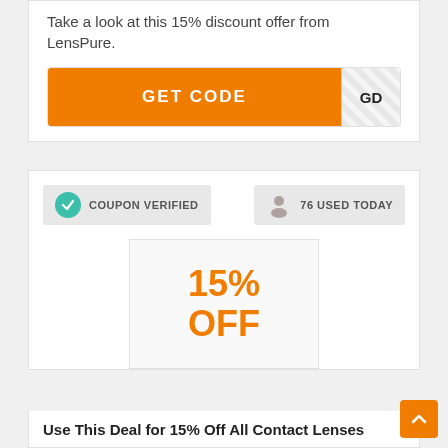Take a look at this 15% discount offer from LensPure.
[Figure (other): Orange GET CODE button with hatched reveal area showing 'GD']
[Figure (other): Coupon verified badge with teal checkmark circle and '76 USED TODAY' badge with person icon]
[Figure (other): White promo box showing '15% OFF' in orange bold text]
Use This Deal for 15% Off All Contact Lenses